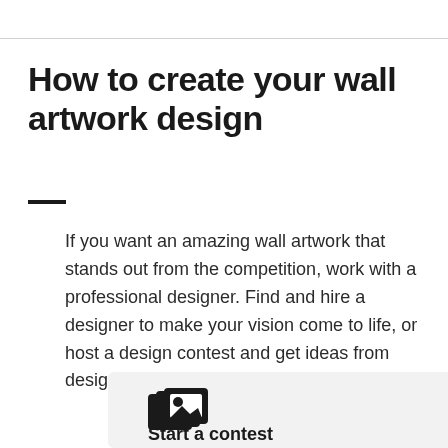How to create your wall artwork design
If you want an amazing wall artwork that stands out from the competition, work with a professional designer. Find and hire a designer to make your vision come to life, or host a design contest and get ideas from designers around the world.
[Figure (illustration): Icon showing overlapping image cards/photos, representing a design contest feature]
Start a contest